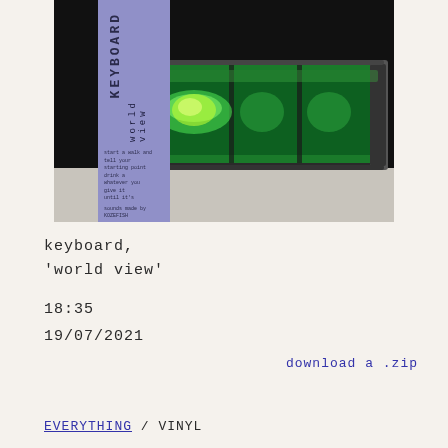[Figure (photo): Album cover for 'Keyboard - World View' (catalog number TST037). Shows a close-up photograph of a spirit/bubble level instrument with green liquid and bubble, set against a dark background. A purple vertical label strip on the left side displays the text KEYBOARD vertically and 'world view' below it, along with small descriptive text, the catalog number TST037, and additional small print at the bottom.]
keyboard,
'world view'
18:35
19/07/2021
download a .zip
EVERYTHING / VINYL